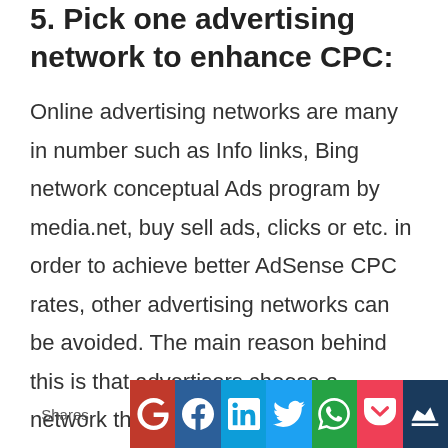5. Pick one advertising network to enhance CPC:
Online advertising networks are many in number such as Info links, Bing network conceptual Ads program by media.net, buy sell ads, clicks or etc. in order to achieve better AdSense CPC rates, other advertising networks can be avoided. The main reason behind this is that advertisers choose a network that costs less so that they